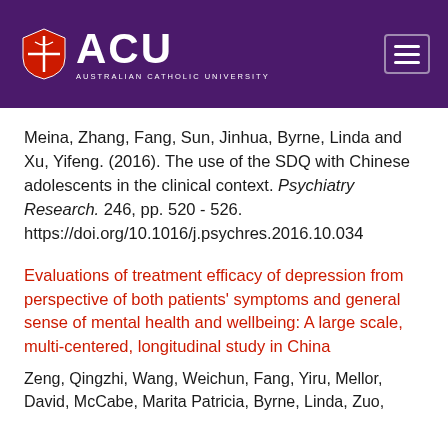[Figure (logo): ACU (Australian Catholic University) logo with shield on purple header background, and hamburger menu icon on the right]
Meina, Zhang, Fang, Sun, Jinhua, Byrne, Linda and Xu, Yifeng. (2016). The use of the SDQ with Chinese adolescents in the clinical context. Psychiatry Research. 246, pp. 520 - 526. https://doi.org/10.1016/j.psychres.2016.10.034
Evaluations of treatment efficacy of depression from perspective of both patients' symptoms and general sense of mental health and wellbeing: A large scale, multi-centered, longitudinal study in China
Zeng, Qingzhi, Wang, Weichun, Fang, Yiru, Mellor, David, McCabe, Marita Patricia, Byrne, Linda, Zuo, ...